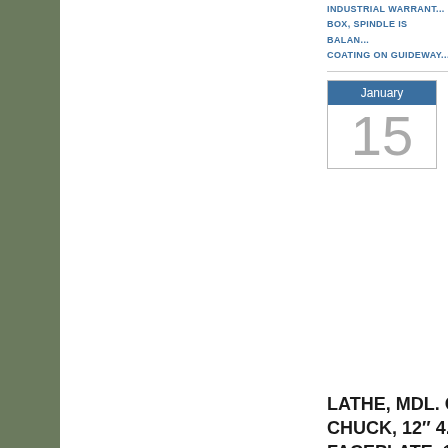INDUSTRIAL WARRANT... BOX, SPINDLE IS BALAN... COATING ON GUIDEWAY...
[Figure (other): Calendar icon showing January 15]
Brand... High S... 67" BI... PREC... LATHE, MDL. C... CHUCK, 12" 4... FACEPLATE, 1... FOLLOW REST... WAY TOOL PO... HALOGEN LIG... SYSTEM, THR... CARRIAGE ST... BOX WITH TO... PARTS MANU... ONE PIECE CA... HEAVY DUTY S... BALANCED, H...